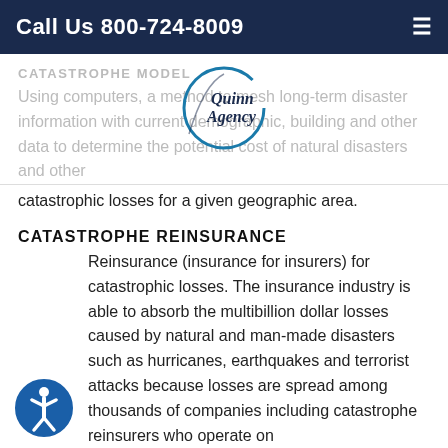Call Us 800-724-8009
CATASTROPHE MODEL
Using computers, a method to mesh long-term disaster information with current demographic, building and other data to determine the potential cost of natural disasters and other catastrophic losses for a given geographic area.
[Figure (logo): Quinn Agency circular logo with wheat stalk design]
CATASTROPHE REINSURANCE
Reinsurance (insurance for insurers) for catastrophic losses. The insurance industry is able to absorb the multibillion dollar losses caused by natural and man-made disasters such as hurricanes, earthquakes and terrorist attacks because losses are spread among thousands of companies including catastrophe reinsurers who operate on